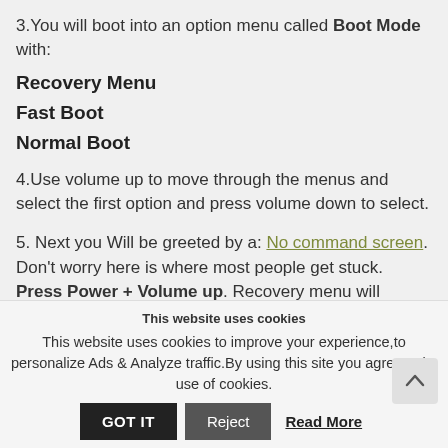3.You will boot into an option menu called Boot Mode with:
Recovery Menu
Fast Boot
Normal Boot
4.Use volume up to move through the menus and select the first option and press volume down to select.
5. Next you Will be greeted by a: No command screen. Don't worry here is where most people get stuck. Press Power + Volume up. Recovery menu will appear.
This website uses cookies
This website uses cookies to improve your experience,to personalize Ads & Analyze traffic.By using this site you agree to its use of cookies.
GOT IT  Reject  Read More